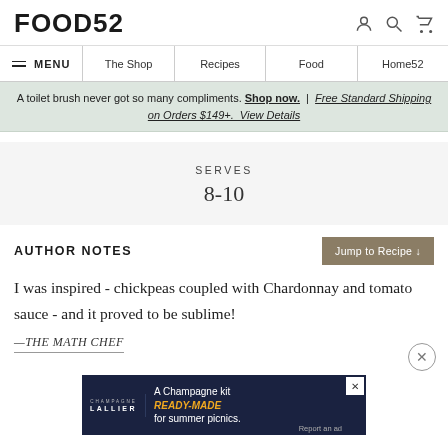FOOD52
≡ MENU | The Shop | Recipes | Food | Home52
A toilet brush never got so many compliments. Shop now. | Free Standard Shipping on Orders $149+. View Details
SERVES
8-10
AUTHOR NOTES
I was inspired - chickpeas coupled with Chardonnay and tomato sauce - and it proved to be sublime!
—THE MATH CHEF
[Figure (screenshot): A Champagne kit READY-MADE for summer picnics. Champagne Lallier advertisement banner.]